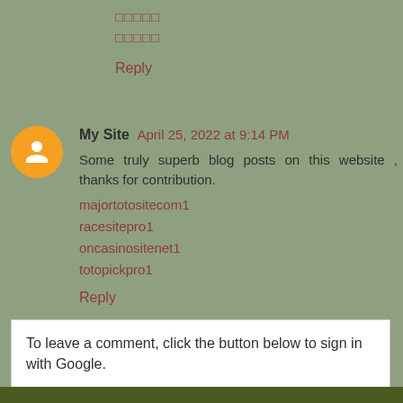□□□□□
□□□□□
Reply
My Site  April 25, 2022 at 9:14 PM
Some truly superb blog posts on this website , thanks for contribution.
majortotositecom1
racesitepro1
oncasinositenet1
totopickpro1
Reply
To leave a comment, click the button below to sign in with Google.